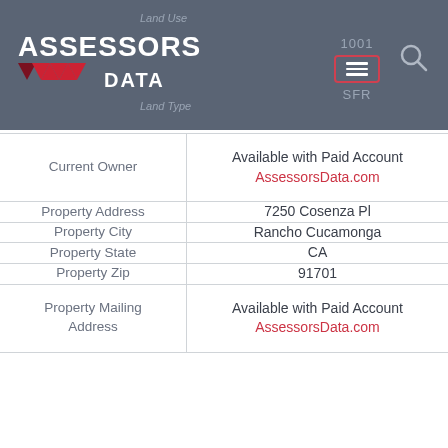[Figure (logo): Assessors Data logo with red triangles on dark grey header background, with 1001/SFR badge and hamburger menu icon]
| Field | Value |
| --- | --- |
| Current Owner | Available with Paid Account
AssessorsData.com |
| Property Address | 7250 Cosenza Pl |
| Property City | Rancho Cucamonga |
| Property State | CA |
| Property Zip | 91701 |
| Property Mailing Address | Available with Paid Account
AssessorsData.com |